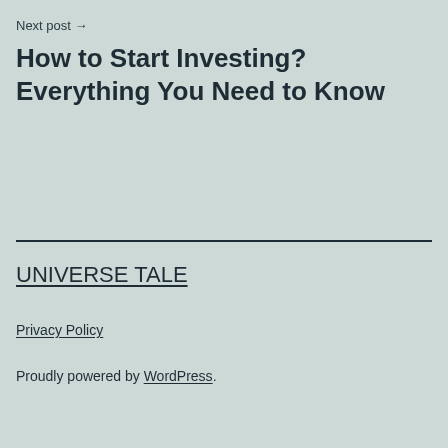Next post →
How to Start Investing? Everything You Need to Know
UNIVERSE TALE
Privacy Policy
Proudly powered by WordPress.